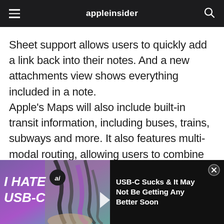appleinsider
Sheet support allows users to quickly add a link back into their notes. And a new attachments view shows everything included in a note.
Apple's Maps will also include built-in transit information, including buses, trains, subways and more. It also features multi-modal routing, allowing users to combine forms of transportation.
[Figure (screenshot): Video thumbnail showing 'I HATE USB-C' text with image of USB-C cables, with an AppleInsider 'ai' badge overlay and play button]
USB-C Sucks & It May Not Be Getting Any Better Soon